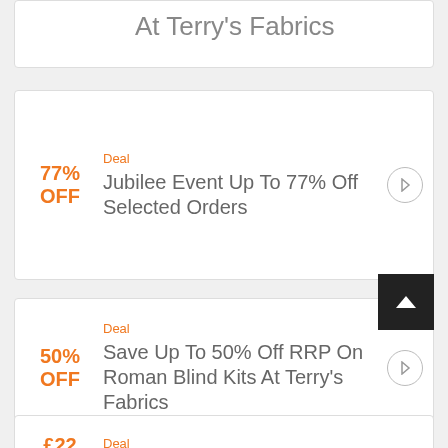At Terry's Fabrics
Deal
77% OFF
Jubilee Event Up To 77% Off Selected Orders
Deal
50% OFF
Save Up To 50% Off RRP On Roman Blind Kits At Terry's Fabrics
Deal
£22